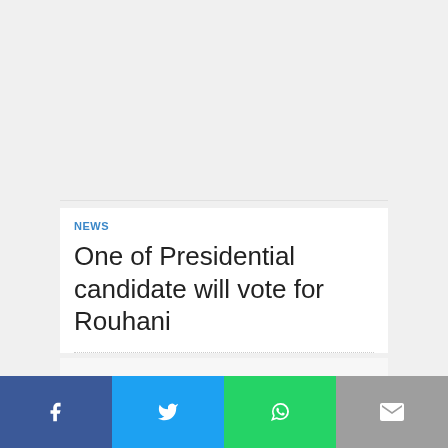NEWS
One of Presidential candidate will vote for Rouhani
[Figure (other): Social media share bar with Facebook, Twitter, WhatsApp, and Email icons]